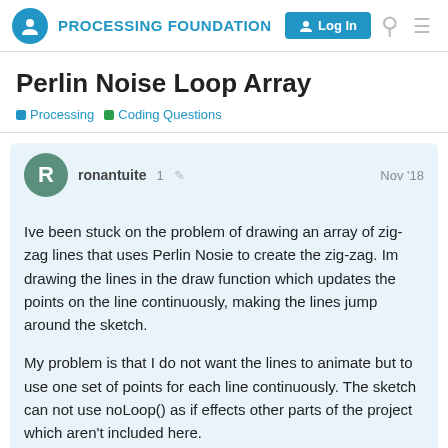PROCESSING FOUNDATION   Log In
Perlin Noise Loop Array
Processing   Coding Questions
ronantuite   1   Nov '18
Ive been stuck on the problem of drawing an array of zig-zag lines that uses Perlin Nosie to create the zig-zag. Im drawing the lines in the draw function which updates the points on the line continuously, making the lines jump around the sketch.
My problem is that I do not want the lines to animate but to use one set of points for each line continuously. The sketch can not use noLoop() as if effects other parts of the project which aren't included here.
If anyone might be able to help I would be
1 / 3